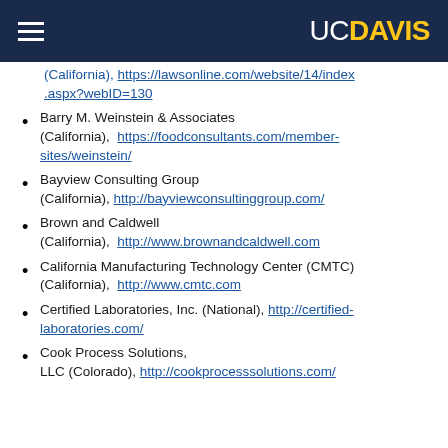UC DAVIS
(California), https://lawsonline.com/website/14/index.aspx?webID=130
Barry M. Weinstein & Associates (California), https://foodconsultants.com/member-sites/weinstein/
Bayview Consulting Group (California), http://bayviewconsultinggroup.com/
Brown and Caldwell (California), http://www.brownandcaldwell.com
California Manufacturing Technology Center (CMTC) (California), http://www.cmtc.com
Certified Laboratories, Inc. (National), http://certified-laboratories.com/
Cook Process Solutions, LLC (Colorado), http://cookprocesssolutions.com/